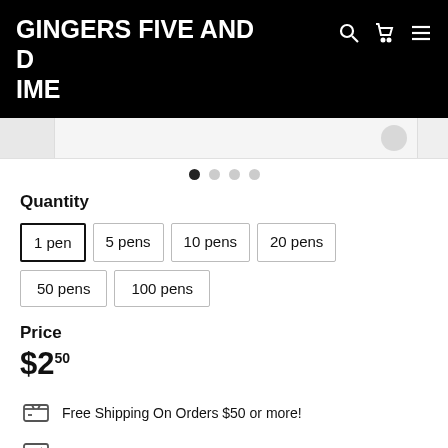GINGERS FIVE AND DIME
[Figure (screenshot): Product image thumbnail strip with navigation dots]
Quantity
1 pen (selected)
5 pens
10 pens
20 pens
50 pens
100 pens
Price
$2.50
Free Shipping On Orders $50 or more!